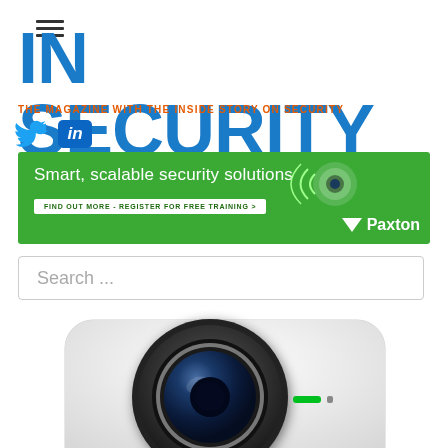[Figure (logo): Hamburger menu icon (three horizontal lines)]
IN SECURITY
THE MAGAZINE WITH THE INSIDE STORY ON SECURITY
[Figure (logo): Twitter bird icon and LinkedIn 'in' icon]
[Figure (infographic): Paxton green advertising banner: Smart, scalable security solutions. FIND OUT MORE - REGISTER FOR FREE TRAINING > with security cameras illustrated]
Search ...
[Figure (photo): Samsung security camera close-up, white body with large dark circular lens and blue glass element, green LED indicator, Samsung branding on side]